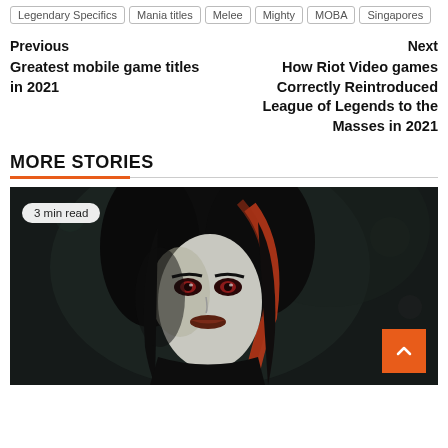Legendary Specifics | Mania titles | Melee | Mighty | MOBA | Singapores
Previous
Greatest mobile game titles in 2021
Next
How Riot Video games Correctly Reintroduced League of Legends to the Masses in 2021
MORE STORIES
[Figure (photo): Dark atmospheric close-up of an anime/game character female with pale skin, dark hair with red highlights, red eyes, wearing dark outfit. A '3 min read' badge is overlaid in top-left. An orange back-to-top arrow button is in bottom-right.]